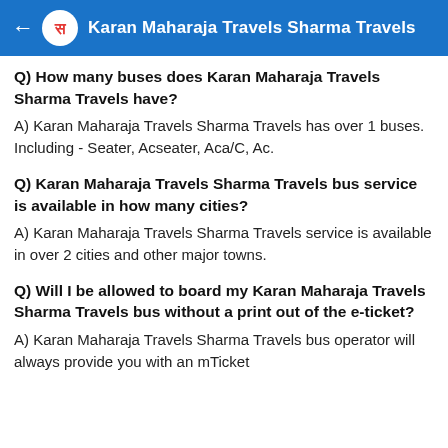Karan Maharaja Travels Sharma Travels
Q) How many buses does Karan Maharaja Travels Sharma Travels have?
A) Karan Maharaja Travels Sharma Travels has over 1 buses. Including - Seater, Acseater, Aca/C, Ac.
Q) Karan Maharaja Travels Sharma Travels bus service is available in how many cities?
A) Karan Maharaja Travels Sharma Travels service is available in over 2 cities and other major towns.
Q) Will I be allowed to board my Karan Maharaja Travels Sharma Travels bus without a print out of the e-ticket?
A) Karan Maharaja Travels Sharma Travels bus operator will always provide you with an mTicket